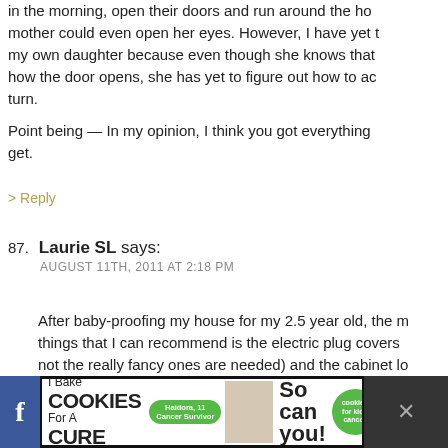in the morning, open their doors and run around the house before their mother could even open her eyes. However, I have yet to see this with my own daughter because even though she knows that lever and how the door opens, she has yet to figure out how to actually make it turn.
Point being — In my opinion, I think you got everything you will get.
> Reply
87. Laurie SL says:
AUGUST 11TH, 2011 AT 2:18 PM
After baby-proofing my house for my 2.5 year old, the most things that I can recommend is the electric plug covers (not the really fancy ones are needed) and the cabinet locks — plastic little hooks that adults can open but toddlers can't. Try to put those cabinet locks on all cabinets that have cleaning supplies, medicines.
[Figure (screenshot): Advertisement banner at bottom of page: 'I Bake COOKIES For A CURE' with green Cookies for Kids Cancer logo badge, 'So can you!' text, a photo of a girl, and social media bar with Facebook icon and close buttons.]